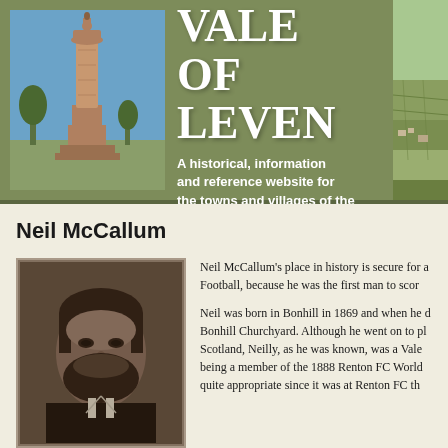[Figure (photo): Header banner with green background, monument/pillar photo on left, aerial landscape photo on right, site title and subtitle in center]
THE VALE OF LEVEN
A historical, information and reference website for the towns and villages of the Vale of Leven in West Dunbartonshire, Scotland
Neil McCallum
[Figure (photo): Black and white portrait photo of Neil McCallum, a man with facial hair from the Victorian era]
Neil McCallum's place in history is secure for a Football, because he was the first man to scor Neil was born in Bonhill in 1869 and when he d Bonhill Churchyard. Although he went on to pl Scotland, Neilly, as he was known, was a Vale being a member of the 1888 Renton FC World quite appropriate since it was at Renton FC th